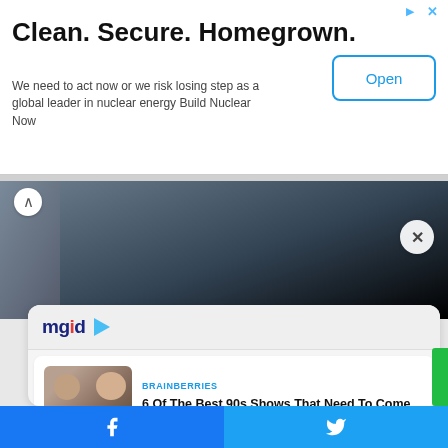[Figure (screenshot): Advertisement banner: Clean. Secure. Homegrown. with Open button]
Clean. Secure. Homegrown.
We need to act now or we risk losing step as a global leader in nuclear energy Build Nuclear Now
[Figure (screenshot): Dark image strip with person silhouettes and mgid logo bar]
[Figure (screenshot): Feed card 1 - BRAINBERRIES: 6 Of The Best 90s Shows That Need To Come Back ASAP]
BRAINBERRIES
6 Of The Best 90s Shows That Need To Come Back ASAP
[Figure (screenshot): Feed card 2 - BRAINBERRIES: 10 Albino Animals Who Look Like Ghosts]
BRAINBERRIES
10 Albino Animals Who Look Like Ghosts